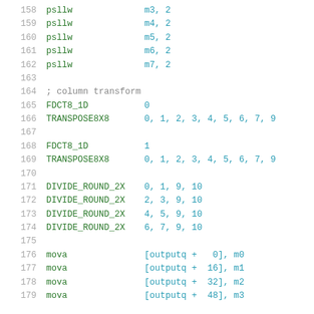158   psllw   m3, 2
159   psllw   m4, 2
160   psllw   m5, 2
161   psllw   m6, 2
162   psllw   m7, 2
163
164   ; column transform
165   FDCT8_1D   0
166   TRANSPOSE8X8  0, 1, 2, 3, 4, 5, 6, 7, 9
167
168   FDCT8_1D   1
169   TRANSPOSE8X8  0, 1, 2, 3, 4, 5, 6, 7, 9
170
171   DIVIDE_ROUND_2X   0, 1, 9, 10
172   DIVIDE_ROUND_2X   2, 3, 9, 10
173   DIVIDE_ROUND_2X   4, 5, 9, 10
174   DIVIDE_ROUND_2X   6, 7, 9, 10
175
176   mova   [outputq +   0], m0
177   mova   [outputq +  16], m1
178   mova   [outputq +  32], m2
179   mova   [outputq +  48], m3